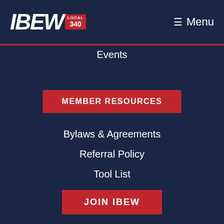[Figure (logo): IBEW Local 340 logo in white italic bold text with red badge showing LOCAL 340]
≡ Menu
Events
MEMBER RESOURCES
Bylaws & Agreements
Referral Policy
Tool List
Partner Contractors
JOIN IBEW